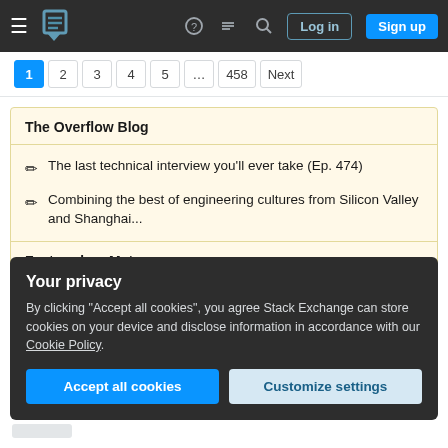Stack Overflow navigation bar with hamburger menu, logo, help, chat, search icons, Log in and Sign up buttons
1  2  3  4  5  ...  458  Next
The Overflow Blog
The last technical interview you'll ever take (Ep. 474)
Combining the best of engineering cultures from Silicon Valley and Shanghai...
Featured on Meta
Planned maintenance scheduled for Tuesday, August 23,
Your privacy
By clicking "Accept all cookies", you agree Stack Exchange can store cookies on your device and disclose information in accordance with our Cookie Policy.
Accept all cookies
Customize settings